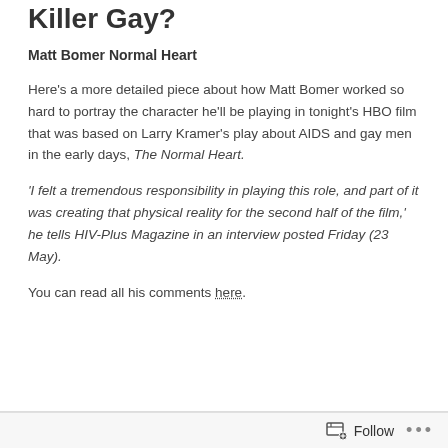Killer Gay?
Matt Bomer Normal Heart
Here's a more detailed piece about how Matt Bomer worked so hard to portray the character he'll be playing in tonight's HBO film that was based on Larry Kramer's play about AIDS and gay men in the early days, The Normal Heart.
'I felt a tremendous responsibility in playing this role, and part of it was creating that physical reality for the second half of the film,' he tells HIV-Plus Magazine in an interview posted Friday (23 May).
You can read all his comments here.
Follow ...